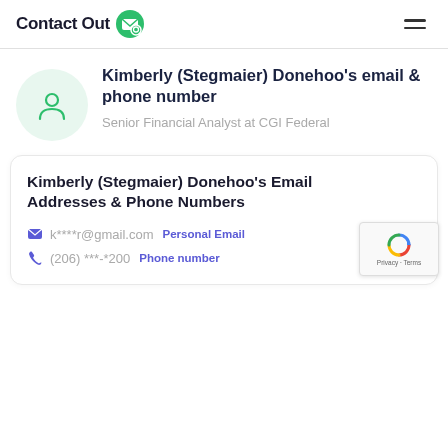ContactOut
Kimberly (Stegmaier) Donehoo's email & phone number
Senior Financial Analyst at CGI Federal
Kimberly (Stegmaier) Donehoo's Email Addresses & Phone Numbers
k****r@gmail.com  Personal Email
(206) ***-*200  Phone number